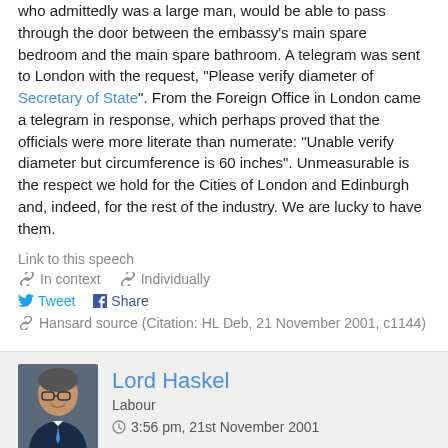who admittedly was a large man, would be able to pass through the door between the embassy's main spare bedroom and the main spare bathroom. A telegram was sent to London with the request, "Please verify diameter of Secretary of State". From the Foreign Office in London came a telegram in response, which perhaps proved that the officials were more literate than numerate: "Unable verify diameter but circumference is 60 inches". Unmeasurable is the respect we hold for the Cities of London and Edinburgh and, indeed, for the rest of the industry. We are lucky to have them.
Link to this speech
In context   Individually
Tweet   Share
Hansard source (Citation: HL Deb, 21 November 2001, c1144)
Lord Haskel
Labour
3:56 pm, 21st November 2001
My Lords, it is my privilege to congratulate the noble Lord, Lord Brooke, on a wonderful maiden speech. In spite of his modesty, I think that all